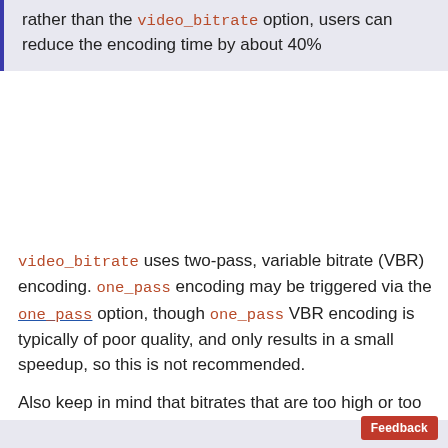rather than the video_bitrate option, users can reduce the encoding time by about 40%
video_bitrate uses two-pass, variable bitrate (VBR) encoding. one_pass encoding may be triggered via the one_pass option, though one_pass VBR encoding is typically of poor quality, and only results in a small speedup, so this is not recommended.
Also keep in mind that bitrates that are too high or too low are unusable. By default, if you specify a bitrate that is too low, we will automatically correct to an acceptable bitrate. Enable strict mode if you would prefer a job to fail in this situation rather than auto-correcting.